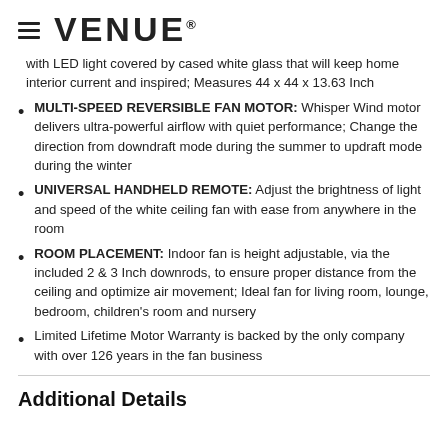VENUE
with LED light covered by cased white glass that will keep home interior current and inspired; Measures 44 x 44 x 13.63 Inch
MULTI-SPEED REVERSIBLE FAN MOTOR: Whisper Wind motor delivers ultra-powerful airflow with quiet performance; Change the direction from downdraft mode during the summer to updraft mode during the winter
UNIVERSAL HANDHELD REMOTE: Adjust the brightness of light and speed of the white ceiling fan with ease from anywhere in the room
ROOM PLACEMENT: Indoor fan is height adjustable, via the included 2 & 3 Inch downrods, to ensure proper distance from the ceiling and optimize air movement; Ideal fan for living room, lounge, bedroom, children's room and nursery
Limited Lifetime Motor Warranty is backed by the only company with over 126 years in the fan business
Additional Details